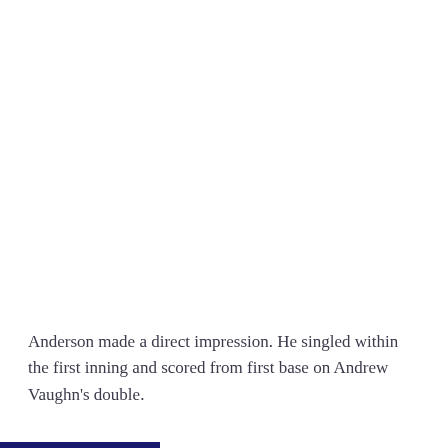Anderson made a direct impression. He singled within the first inning and scored from first base on Andrew Vaughn's double.